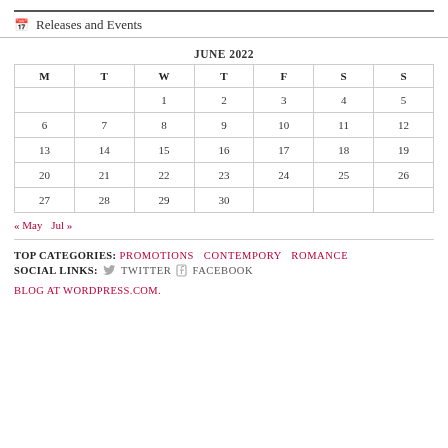Releases and Events
| M | T | W | T | F | S | S |
| --- | --- | --- | --- | --- | --- | --- |
|  |  | 1 | 2 | 3 | 4 | 5 |
| 6 | 7 | 8 | 9 | 10 | 11 | 12 |
| 13 | 14 | 15 | 16 | 17 | 18 | 19 |
| 20 | 21 | 22 | 23 | 24 | 25 | 26 |
| 27 | 28 | 29 | 30 |  |  |  |
« May  Jul »
TOP CATEGORIES: PROMOTIONS CONTEMPORY ROMANCE
SOCIAL LINKS: TWITTER FACEBOOK
BLOG AT WORDPRESS.COM.